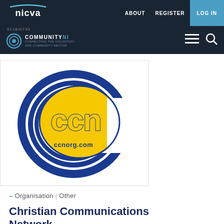ABOUT   REGISTER   LOG IN
[Figure (logo): NICVA logo - white text on dark background with curved top line]
[Figure (logo): CommunityNI logo - circular icon with text]
[Figure (logo): CCN logo - Christian Communications Network circular logo with blue rings and yellow CCN letters, ccnorg.com]
– Organisation | Other
Christian Communications Network